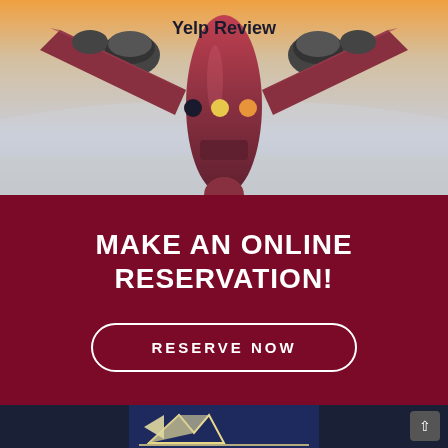[Figure (photo): Airplane viewed from below against a sky background, with the text 'Yelp Review' displayed prominently and three colored dots (dark, yellow, orange) visible below the text.]
MAKE AN ONLINE RESERVATION!
RESERVE NOW
[Figure (logo): A logo with mountain/arrow shapes in white and gold on a dark navy background, partially visible at the bottom of the page.]